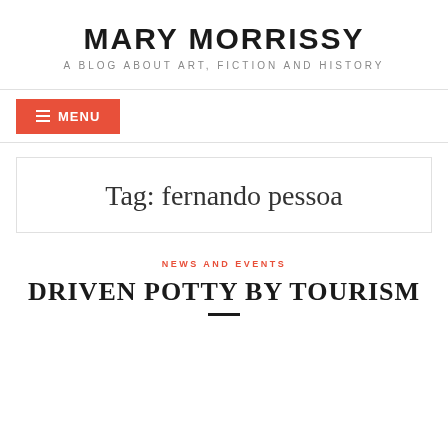MARY MORRISSY
A BLOG ABOUT ART, FICTION AND HISTORY
≡ MENU
Tag: fernando pessoa
NEWS AND EVENTS
DRIVEN POTTY BY TOURISM